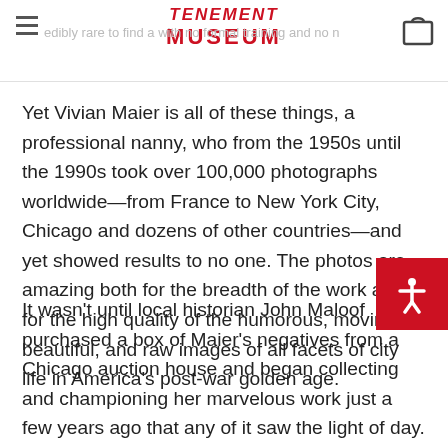TENEMENT MUSEUM
Yet Vivian Maier is all of these things, a professional nanny, who from the 1950s until the 1990s took over 100,000 photographs worldwide—from France to New York City, Chicago and dozens of other countries—and yet showed results to no one. The photos are amazing both for the breadth of the work and for the high quality of the humorous, moving, beautiful, and raw images of all facets of city life in America's post-war golden age.
It wasn't until local historian John Maloof purchased a box of Maier's negatives from a Chicago auction house and began collecting and championing her marvelous work just a few years ago that any of it saw the light of day. Presented here for the first time in print, Vivian Maier: Street Photographer collects the best of her incredible, unseen body of work.